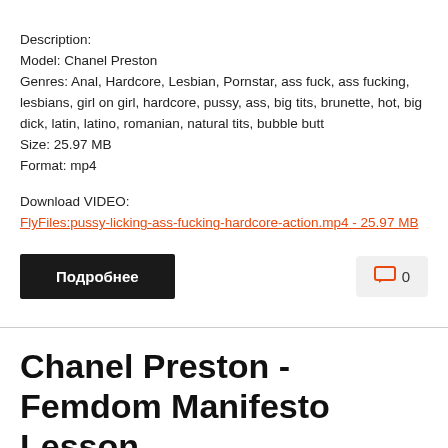Description:
Model: Chanel Preston
Genres: Anal, Hardcore, Lesbian, Pornstar, ass fuck, ass fucking, lesbians, girl on girl, hardcore, pussy, ass, big tits, brunette, hot, big dick, latin, latino, romanian, natural tits, bubble butt
Size: 25.97 MB
Format: mp4
Download VIDEO:
FlyFiles:pussy-licking-ass-fucking-hardcore-action.mp4 - 25.97 MB
Подробнее
0
Chanel Preston - Femdom Manifesto Lesson